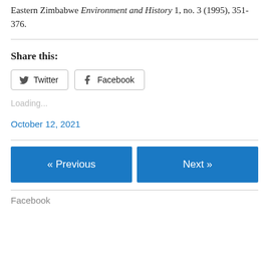Eastern Zimbabwe Environment and History 1, no. 3 (1995), 351-376.
Share this:
Twitter  Facebook
Loading...
October 12, 2021
« Previous
Next »
Facebook